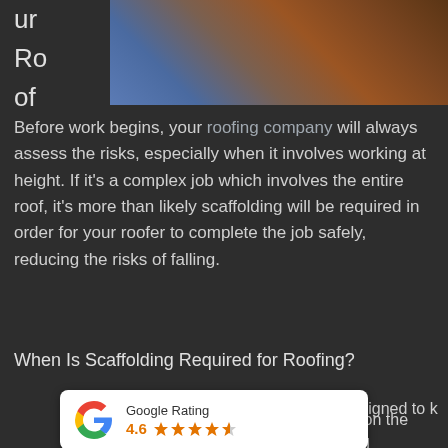[Figure (photo): Partial view of a roofing worker in blue clothing working on a roof with brown/rust colored tiles]
ur
Ro
of
Before work begins, your roofing company will always assess the risks, especially when it involves working at height. If it's a complex job which involves the entire roof, it's more than likely scaffolding will be required in order for your roofer to complete the job safely, reducing the risks of falling.
When Is Scaffolding Required for Roofing?
y designed to k  those on the ground.
[Figure (other): Google Rating badge showing 4.6 stars out of 5]